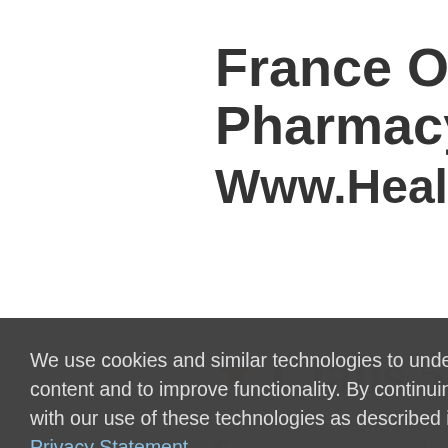Search Results For:
France Online Pharmacy ★ Www.HealthMeds.Or
[Figure (screenshot): Watermark text visible behind cookie overlay showing 'Cialis 5mg France Prix Du Cialis Generique En France' in large serif bold text, semi-transparent]
We use cookies and similar technologies to understand how you use our site, to personalize content and to improve functionality. By continuing to use this site, we will assume you agree with our use of these technologies as described in the Privacy Statement
Accept and Continue
What are the best foods and treats for my pet's